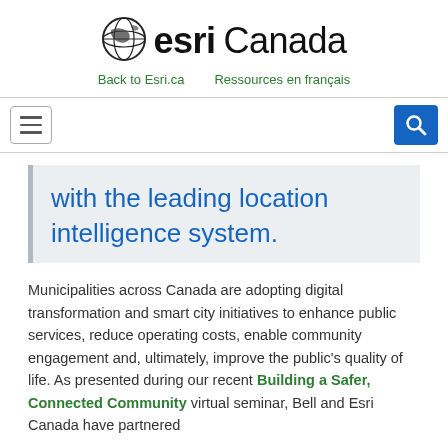esri Canada — Back to Esri.ca   Ressources en français
[Figure (logo): Esri Canada logo with globe icon, bold 'esri' text and 'Canada' text]
Back to Esri.ca    Ressources en français
[Figure (screenshot): Navigation bar with hamburger menu icon on left and blue search button on right]
with the leading location intelligence system.
Municipalities across Canada are adopting digital transformation and smart city initiatives to enhance public services, reduce operating costs, enable community engagement and, ultimately, improve the public's quality of life. As presented during our recent Building a Safer, Connected Community virtual seminar, Bell and Esri Canada have partnered